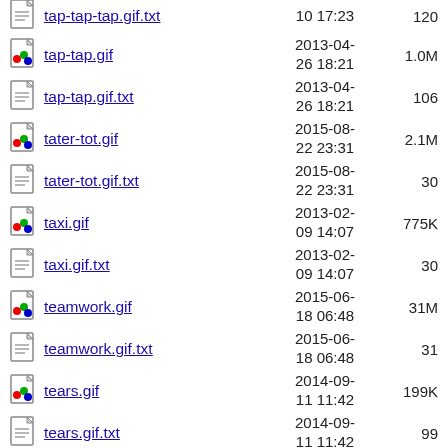tap-tap-tap.gif.txt  2013-..10 17:23  120
tap-tap.gif  2013-04-26 18:21  1.0M
tap-tap.gif.txt  2013-04-26 18:21  106
tater-tot.gif  2015-08-22 23:31  2.1M
tater-tot.gif.txt  2015-08-22 23:31  30
taxi.gif  2013-02-09 14:07  775K
taxi.gif.txt  2013-02-09 14:07  30
teamwork.gif  2015-06-18 06:48  31M
teamwork.gif.txt  2015-06-18 06:48  31
tears.gif  2014-09-11 11:42  199K
tears.gif.txt  2014-09-11 11:42  99
technically.jpg  2014-12-...  58K